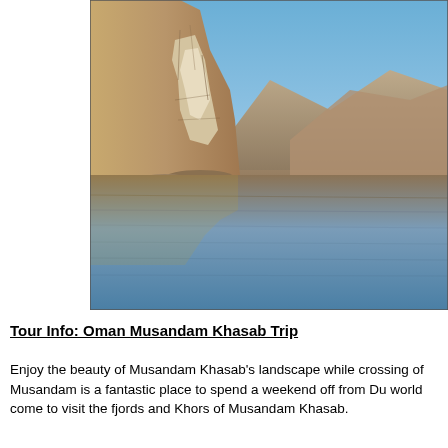[Figure (photo): Photograph of Musandam Khasab landscape showing dramatic rocky limestone cliffs on the left, arid brown mountains in the background, and calm reflective water (fjord/khor) in the foreground with blue sky above.]
Tour Info: Oman Musandam Khasab Trip
Enjoy the beauty of Musandam Khasab's landscape while crossing of Musandam is a fantastic place to spend a weekend off from Du world come to visit the fjords and Khors of Musandam Khasab.